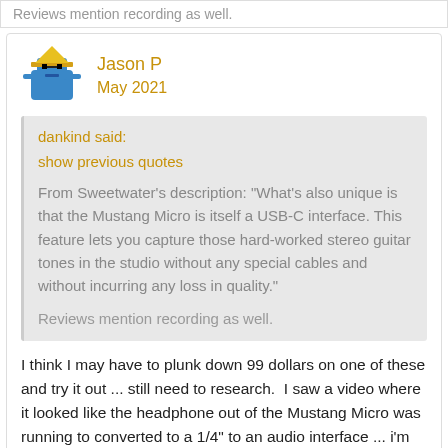Reviews mention recording as well.
Jason P
May 2021
dankind said:
show previous quotes
From Sweetwater's description: "What's also unique is that the Mustang Micro is itself a USB-C interface. This feature lets you capture those hard-worked stereo guitar tones in the studio without any special cables and without incurring any loss in quality."

Reviews mention recording as well.
I think I may have to plunk down 99 dollars on one of these and try it out ... still need to research.  I saw a video where it looked like the headphone out of the Mustang Micro was running to converted to a 1/4" to an audio interface ... i'm hoping my live trak L-12 fits that bill.